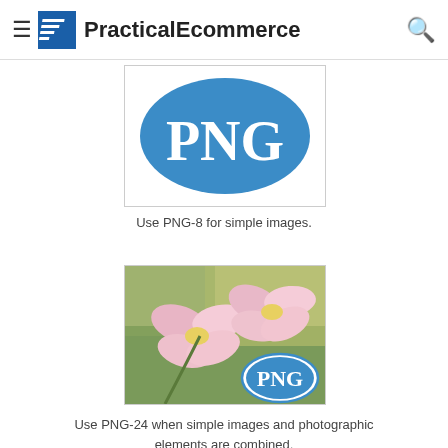PracticalEcommerce
[Figure (illustration): Blue oval/circle with white text 'PNG' representing PNG-8 simple image graphic]
Use PNG-8 for simple images.
[Figure (photo): Photo of pink orchid flowers with a blue oval PNG logo overlay in the bottom right, representing PNG-24 combined photographic and simple image elements]
Use PNG-24 when simple images and photographic elements are combined.